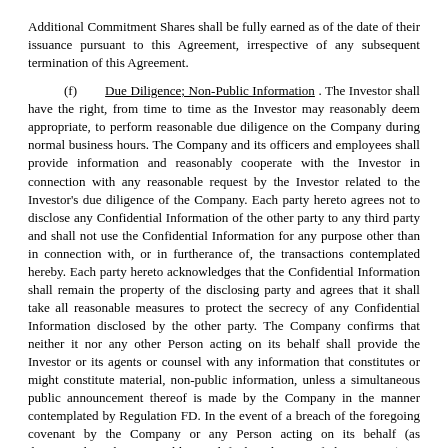Additional Commitment Shares shall be fully earned as of the date of their issuance pursuant to this Agreement, irrespective of any subsequent termination of this Agreement.
(f) Due Diligence; Non-Public Information . The Investor shall have the right, from time to time as the Investor may reasonably deem appropriate, to perform reasonable due diligence on the Company during normal business hours. The Company and its officers and employees shall provide information and reasonably cooperate with the Investor in connection with any reasonable request by the Investor related to the Investor's due diligence of the Company. Each party hereto agrees not to disclose any Confidential Information of the other party to any third party and shall not use the Confidential Information for any purpose other than in connection with, or in furtherance of, the transactions contemplated hereby. Each party hereto acknowledges that the Confidential Information shall remain the property of the disclosing party and agrees that it shall take all reasonable measures to protect the secrecy of any Confidential Information disclosed by the other party. The Company confirms that neither it nor any other Person acting on its behalf shall provide the Investor or its agents or counsel with any information that constitutes or might constitute material, non-public information, unless a simultaneous public announcement thereof is made by the Company in the manner contemplated by Regulation FD. In the event of a breach of the foregoing covenant by the Company or any Person acting on its behalf (as determined in the reasonable good faith judgment of the Investor), in addition to any other remedy provided herein or in the other Transaction Documents, the Investor shall have the right to make a public disclosure, in the form of a press release, public advertisement or otherwise, of such material, non-public information without the prior approval by the Company; provided the Investor shall have first provided notice to the Company